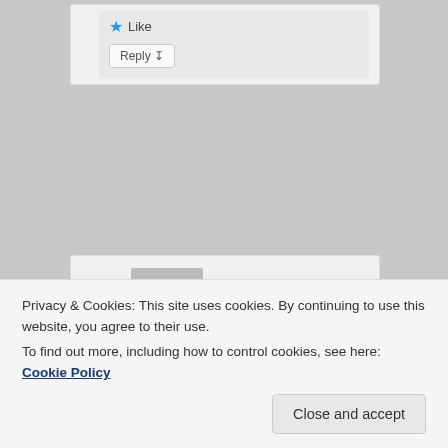[Figure (screenshot): Top portion of a web comment card showing a Like button with blue star icon and a Reply button with arrow]
· · · ··  ·
[Figure (screenshot): Comment card with a grey avatar/profile placeholder image and partial star icon on the left]
Privacy & Cookies: This site uses cookies. By continuing to use this website, you agree to their use.
To find out more, including how to control cookies, see here: Cookie Policy
Close and accept